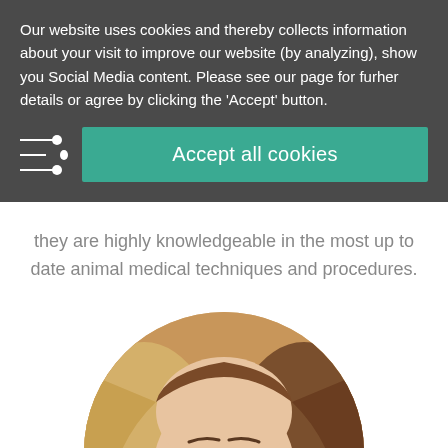Our website uses cookies and thereby collects information about your visit to improve our website (by analyzing), show you Social Media content. Please see our page for furher details or agree by clicking the 'Accept' button.
Accept all cookies
they are highly knowledgeable in the most up to date animal medical techniques and procedures.
[Figure (photo): Circular portrait photo of a young woman with long brown hair and light eyes, facing forward.]